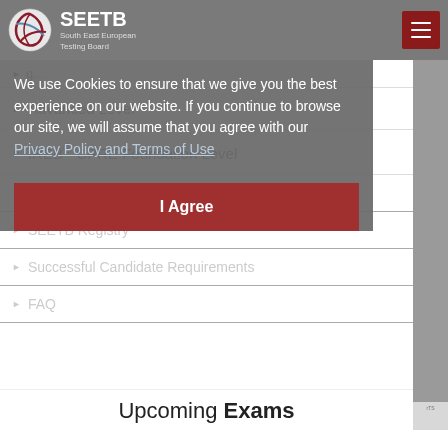SEETB South East European Testing Board
▶ Advanced Level
▶ IREB® CPRE Foundation Level
▶ Book an Exam
▶ SEETB Registry
▶ Successful Candidate Requirements
▶ FAQ
We use Cookies to ensure that we give you the best experience on our website. If you continue to browse our site, we will assume that you agree with our Privacy Policy and Terms of Use
I Agree
Upcoming Exams